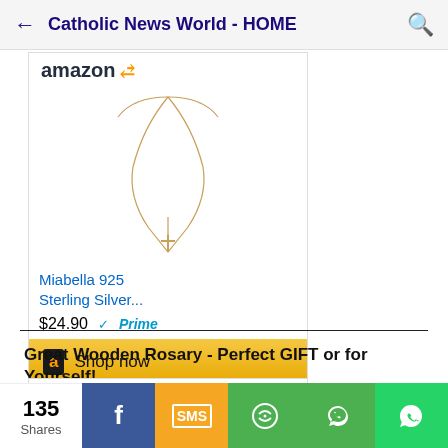Catholic News World - HOME
[Figure (screenshot): Amazon advertisement for Miabella 925 Sterling Silver necklace with cross pendant, priced at $24.90 with Prime, with Shop now button]
Great Wooden Rosary - Perfect GIFT or for Yourself!
[Figure (screenshot): Partial Amazon advertisement for a wooden rosary product]
135 Shares